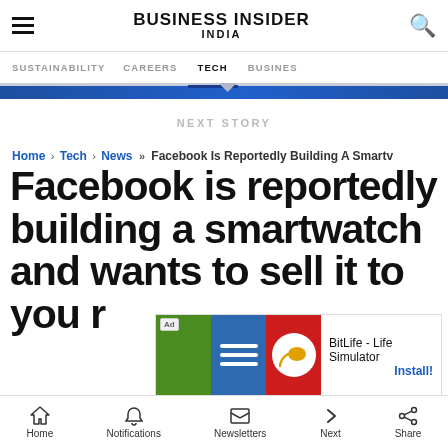Business Insider India
SUSTAINABILITY  CAREERS  TECH  BUSINESS
NEXT STORY
Home › Tech › News » Facebook Is Reportedly Building A Smartv
Facebook is reportedly building a smartwatch and wants to sell it to you r
[Figure (screenshot): Ad overlay for BitLife - Life Simulator app with green, blue, and red panels and Install! button]
Home  Notifications  Newsletters  Next  Share